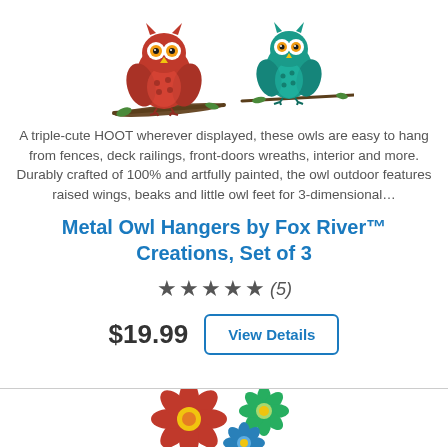[Figure (illustration): Two decorative metal owls - a red owl on a branch on the left and a teal/blue owl on a branch on the right]
A triple-cute HOOT wherever displayed, these owls are easy to hang from fences, deck railings, front-doors wreaths, interior and more. Durably crafted of 100% and artfully painted, the owl outdoor features raised wings, beaks and little owl feet for 3-dimensional…
Metal Owl Hangers by Fox River™ Creations, Set of 3
★★★★★ (5)
$19.99   View Details
[Figure (illustration): Three decorative metal flowers in red, green, and blue colors with yellow centers]